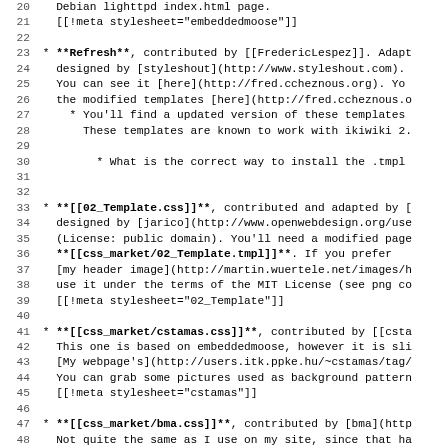Code/text listing showing lines 20-51 of a wiki/markup document describing CSS templates and stylesheets for ikiwiki, including entries for Refresh, 02_Template.css, cstamas.css, and bma.css templates with contributor and license information.